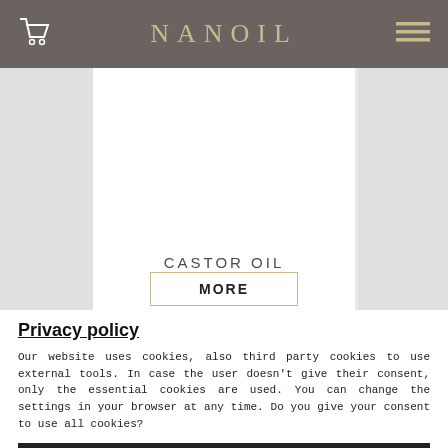NANOIL
[Figure (screenshot): Nanoil website product page showing Castor Oil product with a MORE button on white background, flanked by grey sidebars]
CASTOR OIL
MORE
Privacy policy
Our website uses cookies, also third party cookies to use external tools. In case the user doesn't give their consent, only the essential cookies are used. You can change the settings in your browser at any time. Do you give your consent to use all cookies?
Yes, I give my consent
No, I don't give my consent
Personalize